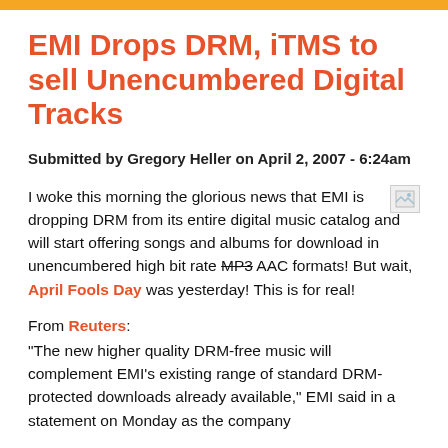EMI Drops DRM, iTMS to sell Unencumbered Digital Tracks
Submitted by Gregory Heller on April 2, 2007 - 6:24am
I woke this morning the glorious news that EMI is dropping DRM from its entire digital music catalog and will start offering songs and albums for download in unencumbered high bit rate MP3 AAC formats! But wait, April Fools Day was yesterday! This is for real!
From Reuters: "The new higher quality DRM-free music will complement EMI's existing range of standard DRM-protected downloads already available," EMI said in a statement on Monday as the company